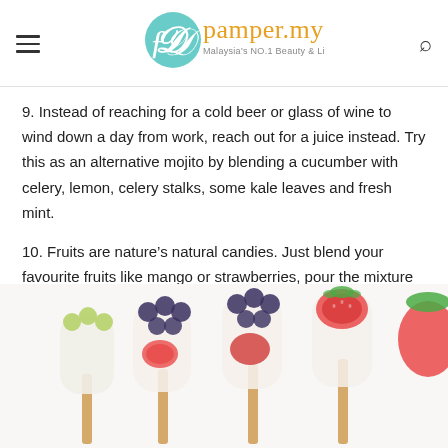pamper.my — Malaysia's NO.1 Beauty & Lifestyle Website
9. Instead of reaching for a cold beer or glass of wine to wind down a day from work, reach out for a juice instead. Try this as an alternative mojito by blending a cucumber with celery, lemon, celery stalks, some kale leaves and fresh mint.
10. Fruits are nature's natural candies. Just blend your favourite fruits like mango or strawberries, pour the mixture into little jelly moulds and pop them into the freezer to enjoy the awesome icy delicacies after a few hours!
[Figure (photo): Fruit popsicles with blueberries, strawberries, grapes and other fruits on sticks against a white background]